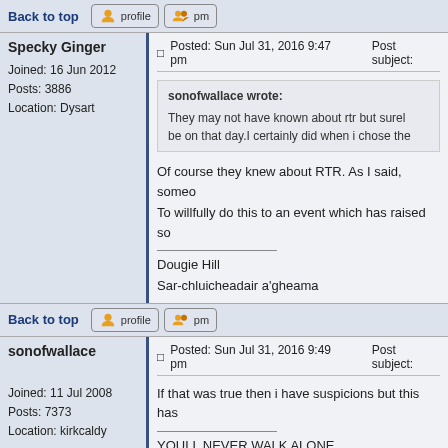Back to top | profile | pm (top bar)
Specky Ginger
Joined: 16 Jun 2012
Posts: 3886
Location: Dysart
Posted: Sun Jul 31, 2016 9:47 pm    Post subject:
sonofwallace wrote:
They may not have known about rtr but surely be on that day.I certainly did when i chose the
Of course they knew about RTR. As I said, someo
To willfully do this to an event which has raised so
Dougie Hill
Sar-chluicheadair a'gheama
Back to top | profile | pm
sonofwallace
Joined: 11 Jul 2008
Posts: 7373
Location: kirkcaldy
Posted: Sun Jul 31, 2016 9:49 pm    Post subject:
If that was true then i have suspicions but this has
YOULL NEVER WALK ALONE
JUSTICE FOR THE 96
6 TIMES CHAMPIONS OF EUROPE
27/11/94